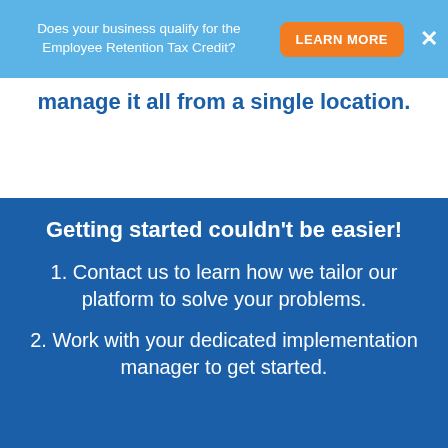Does your business qualify for the Employee Retention Tax Credit?  LEARN MORE  ×
manage it all from a single location.
Getting started couldn't be easier!
1. Contact us to learn how we tailor our platform to solve your problems.
2. Work with your dedicated implementation manager to get started.